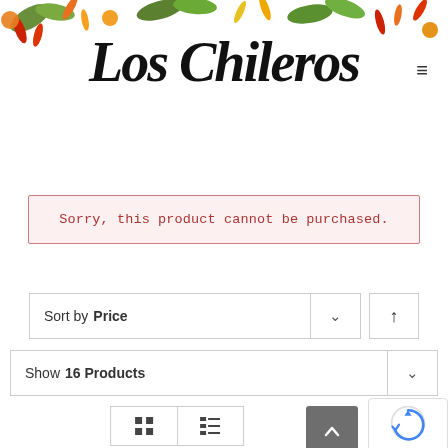[Figure (illustration): Colorful chili peppers and green leaves decorative banner across the top of the page]
Los Chileros
Sorry, this product cannot be purchased.
Sort by Price ∨ ↑
Show 16 Products ∨
[Figure (screenshot): View toggle buttons (grid view and list view icons), scroll-to-top button, and reCAPTCHA badge]